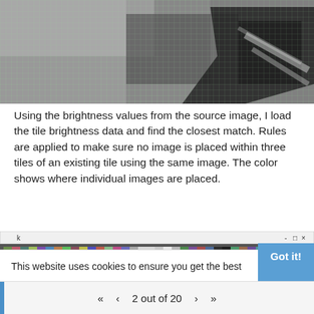[Figure (photo): Grayscale pixelated/mosaic image with a grid overlay, showing indistinct shapes — appears to be a source image used in a photomosaic process]
Using the brightness values from the source image, I load the tile brightness data and find the closest match. Rules are applied to make sure no image is placed within three tiles of an existing tile using the same image. The color shows where individual images are placed.
[Figure (screenshot): Colorful pixelated/mosaic image showing a photomosaic in progress — small colorful tile images composited together to form a larger image, with a thin window title bar at top]
This website uses cookies to ensure you get the best
2 out of 20